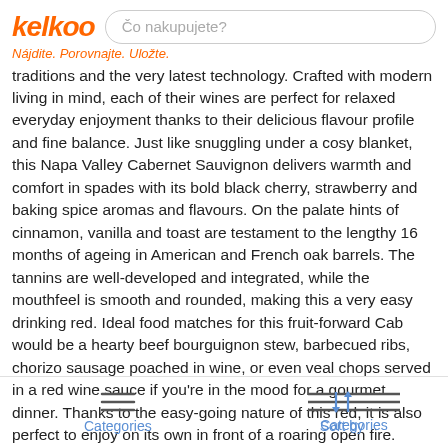kelkoo | Čo nakupujete?
Nájdite. Porovnajte. Uložte.
traditions and the very latest technology. Crafted with modern living in mind, each of their wines are perfect for relaxed everyday enjoyment thanks to their delicious flavour profile and fine balance. Just like snuggling under a cosy blanket, this Napa Valley Cabernet Sauvignon delivers warmth and comfort in spades with its bold black cherry, strawberry and baking spice aromas and flavours. On the palate hints of cinnamon, vanilla and toast are testament to the lengthy 16 months of ageing in American and French oak barrels. The tannins are well-developed and integrated, while the mouthfeel is smooth and rounded, making this a very easy drinking red. Ideal food matches for this fruit-forward Cab would be a hearty beef bourguignon stew, barbecued ribs, chorizo sausage poached in wine, or even veal chops served in a red wine sauce if you're in the mood for a gourmet dinner. Thanks to the easy-going nature of this red, it is also perfect to enjoy on its own in front of a roaring open fire.
2 of 2 výsledky od 1 obcodník
[Figure (other): Bottom navigation bar with Categories (hamburger icon) and Sort by (sort arrows icon) buttons]